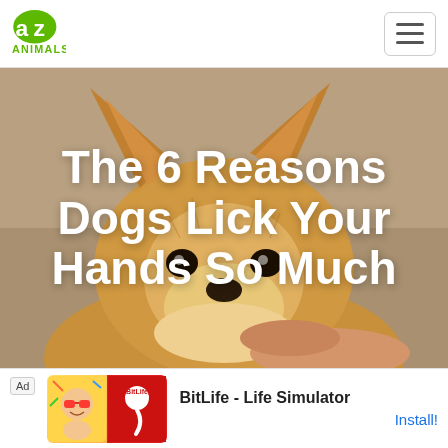AZ Animals
[Figure (photo): A Corgi dog looking upward with perked ears, being held by a human hand, against a warm beige/tan background. The dog has golden-brown fur and a fluffy face.]
The 6 Reasons Dogs Lick Your Hands So Much
Ad  BitLife - Life Simulator  Install!